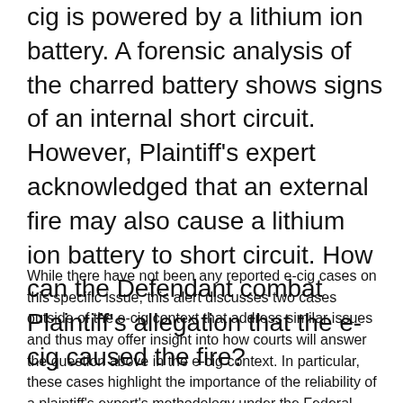cig is powered by a lithium ion battery. A forensic analysis of the charred battery shows signs of an internal short circuit. However, Plaintiff's expert acknowledged that an external fire may also cause a lithium ion battery to short circuit. How can the Defendant combat Plaintiff's allegation that the e-cig caused the fire?
While there have not been any reported e-cig cases on this specific issue, this alert discusses two cases outside of the e-cig context that address similar issues and thus may offer insight into how courts will answer the question above in the e-cig context. In particular, these cases highlight the importance of the reliability of a plaintiff's expert's methodology under the Federal Rules of Evidence and Daubert, and demonstrate how such reliability requirements can be